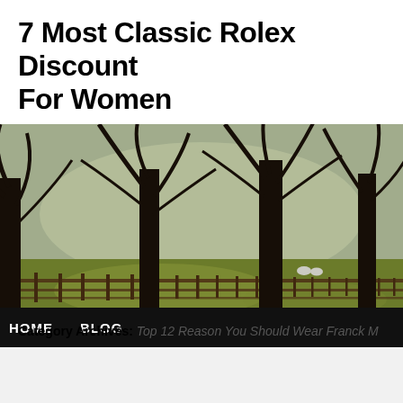7 Most Classic Rolex Discount For Women
[Figure (photo): Landscape photo of large bare trees along a wooden fence in a green field, with sheep visible in the background. Dark moody tones with warm grass in foreground.]
HOME   BLOG
Category Archives: Top 12 Reason You Should Wear Franck M